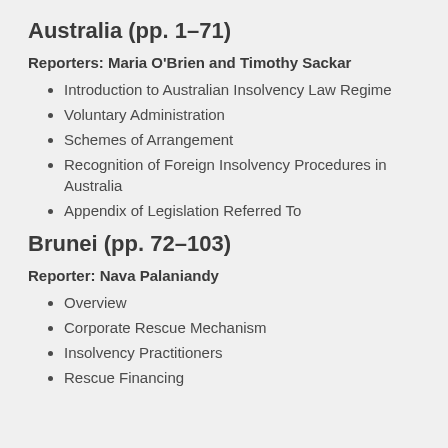Australia (pp. 1–71)
Reporters: Maria O'Brien and Timothy Sackar
Introduction to Australian Insolvency Law Regime
Voluntary Administration
Schemes of Arrangement
Recognition of Foreign Insolvency Procedures in Australia
Appendix of Legislation Referred To
Brunei (pp. 72–103)
Reporter: Nava Palaniandy
Overview
Corporate Rescue Mechanism
Insolvency Practitioners
Rescue Financing